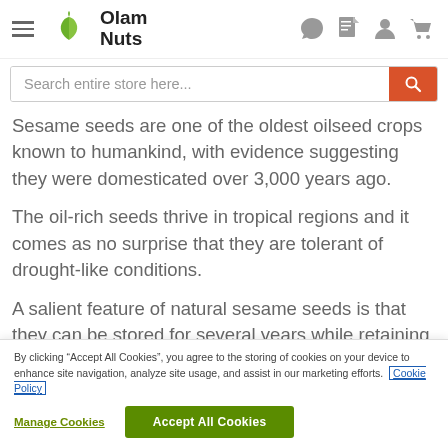[Figure (logo): Olam Nuts logo with green leaf icon and bold text 'Olam Nuts']
Search entire store here...
Sesame seeds are one of the oldest oilseed crops known to humankind, with evidence suggesting they were domesticated over 3,000 years ago.
The oil-rich seeds thrive in tropical regions and it comes as no surprise that they are tolerant of drought-like conditions.
A salient feature of natural sesame seeds is that they can be stored for several years while retaining
By clicking “Accept All Cookies”, you agree to the storing of cookies on your device to enhance site navigation, analyze site usage, and assist in our marketing efforts. Cookie Policy
Manage Cookies
Accept All Cookies